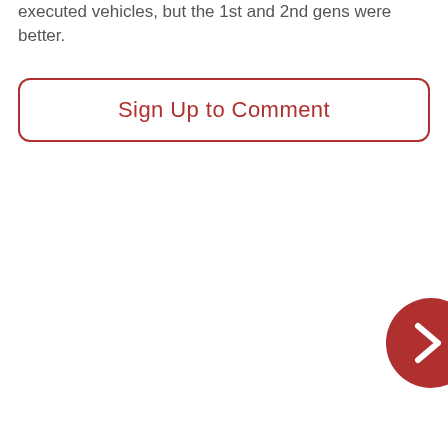executed vehicles, but the 1st and 2nd gens were better.
[Figure (other): A rounded rectangle button with red border and red text reading 'Sign Up to Comment']
[Figure (other): A red circular button with a white right-pointing chevron arrow, partially visible at the right edge of the page]